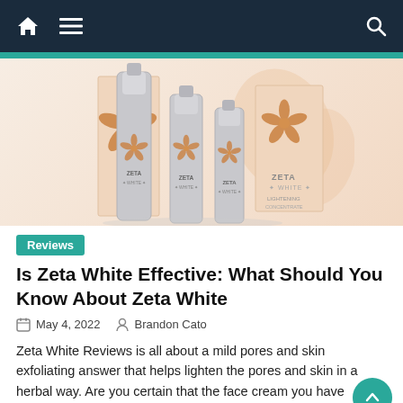Navigation bar with home, menu, and search icons
[Figure (photo): Zeta White skincare product bottles and boxes arranged together against a light peach/salmon background. Products show silver pump bottles with orange/copper flower logo and Zeta White branding.]
Reviews
Is Zeta White Effective: What Should You Know About Zeta White
May 4, 2022   Brandon Cato
Zeta White Reviews is all about a mild pores and skin exfoliating answer that helps lighten the pores and skin in a herbal way. Are you certain that the face cream you have...